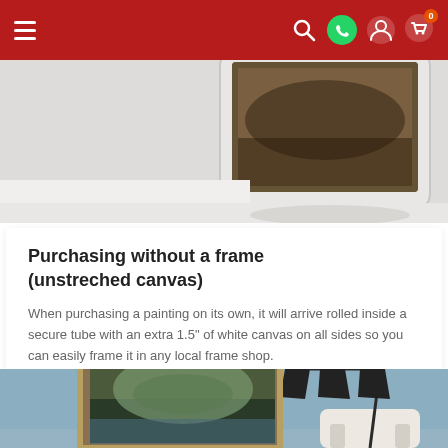[Figure (screenshot): Red navigation bar with hamburger menu on the left and icons (search, WhatsApp, user, cart with badge 0) on the right]
[Figure (photo): Top portion of a tablet device with a painting displayed on screen, on a light gray surface]
Purchasing without a frame (unstreched canvas)
When purchasing a painting on its own, it will arrive rolled inside a secure tube with an extra 1.5" of white canvas on all sides so you can easily frame it in any local frame shop.
[Figure (photo): Framed landscape painting hanging on a blue wall next to a floor lamp, with a white chair visible]